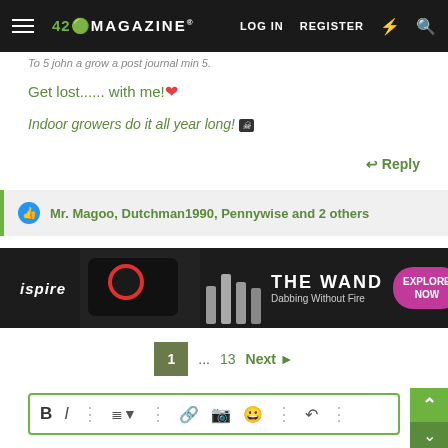420 MAGAZINE® | LOG IN | REGISTER
To 5 john a grow a post journal min 5.
Get lost...... with me! ❤
Indoor growers do it all year long! 🏴‍☠️
↩ Reply
👍 Mr. Magoo, Dutchman1990, Pennywise and 2 others
[Figure (photo): Ispire THE WAND - Dabbing Without Fire advertisement banner. Shows vaping device on black background with glass dabbing tools. Pink EXPLORE NOW button.]
1 ... 13 Next ▸
[Figure (screenshot): Text editor toolbar with Bold, Italic, more options, list, link, image, emoji, undo, and more buttons.]